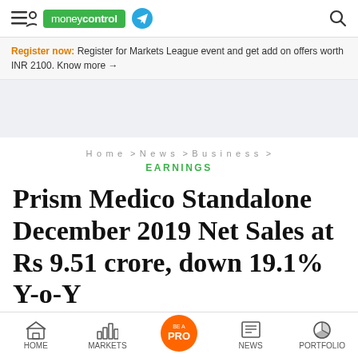moneycontrol
Register now: Register for Markets League event and get add on offers worth INR 2100. Know more →
Home > News > Business > EARNINGS
Prism Medico Standalone December 2019 Net Sales at Rs 9.51 crore, down 19.1% Y-o-Y
HOME   MARKETS   BE A PRO   NEWS   PORTFOLIO